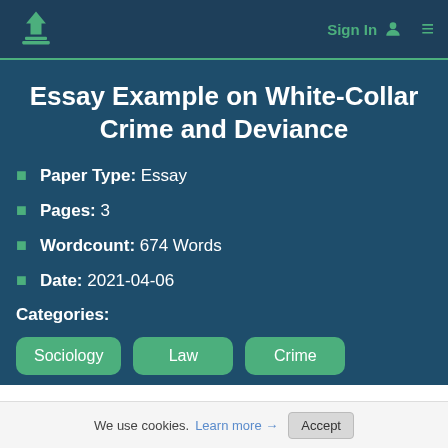Sign In  ☰
Essay Example on White-Collar Crime and Deviance
📄 Paper Type: Essay
📄 Pages: 3
📄 Wordcount: 674 Words
📄 Date: 2021-04-06
Categories:
Sociology  Law  Crime
We use cookies. Learn more → Accept